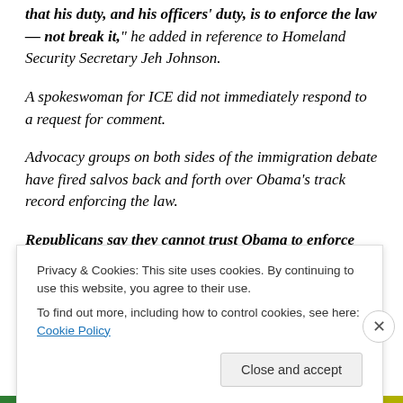that his duty, and his officers' duty, is to enforce the law — not break it," he added in reference to Homeland Security Secretary Jeh Johnson.
A spokeswoman for ICE did not immediately respond to a request for comment.
Advocacy groups on both sides of the immigration debate have fired salvos back and forth over Obama's track record enforcing the law.
Republicans say they cannot trust Obama to enforce
Privacy & Cookies: This site uses cookies. By continuing to use this website, you agree to their use. To find out more, including how to control cookies, see here: Cookie Policy